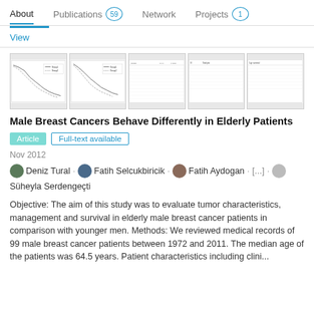About   Publications 59   Network   Projects 1
View
[Figure (screenshot): Thumbnail preview images of a medical publication showing survival curves and data tables for male breast cancer study]
Male Breast Cancers Behave Differently in Elderly Patients
Article   Full-text available
Nov 2012
Deniz Tural · Fatih Selcukbiricik · Fatih Aydogan · [...] · Süheyla Serdengeçti
Objective: The aim of this study was to evaluate tumor characteristics, management and survival in elderly male breast cancer patients in comparison with younger men. Methods: We reviewed medical records of 99 male breast cancer patients between 1972 and 2011. The median age of the patients was 64.5 years. Patient characteristics including clini...